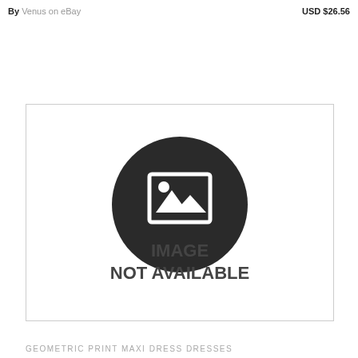By Venus on eBay    USD $26.56
[Figure (photo): Image not available placeholder — dark circle with a landscape/photo icon in center, text reading IMAGE NOT AVAILABLE]
GEOMETRIC PRINT MAXI DRESS DRESSES